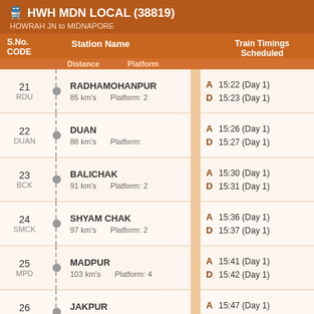🚂 HWH MDN LOCAL (38819) — HOWRAH JN to MIDNAPORE
| S.No. CODE | Station Name / Distance / Platform | Train Timings Scheduled |
| --- | --- | --- |
| 21 RDU | RADHAMOHANPUR / 85 km's / Platform: 2 | A 15:22 (Day 1) / D 15:23 (Day 1) |
| 22 DUAN | DUAN / 88 km's / Platform: | A 15:26 (Day 1) / D 15:27 (Day 1) |
| 23 BCK | BALICHAK / 91 km's / Platform: 2 | A 15:30 (Day 1) / D 15:31 (Day 1) |
| 24 SMCK | SHYAM CHAK / 97 km's / Platform: 2 | A 15:36 (Day 1) / D 15:37 (Day 1) |
| 25 MPD | MADPUR / 103 km's / Platform: 4 | A 15:41 (Day 1) / D 15:42 (Day 1) |
| 26 JPR | JAKPUR / 108 km's / Platform: 4 | A 15:47 (Day 1) / D 15:48 (Day 1) |
| 27 | KHARAGPUR JN | A 16:05 (Day 1) |